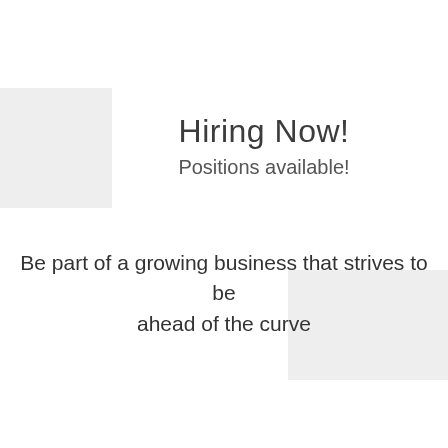[Figure (other): Light gray decorative rectangle in the top-left area of the page]
Hiring Now!
Positions available!
Be part of a growing business that strives to be ahead of the curve
[Figure (other): Light gray decorative rectangle in the bottom-right area of the page]